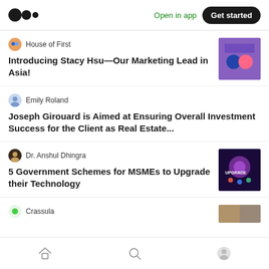Medium app navigation bar with logo, Open in app link, and Get started button
House of First — Introducing Stacy Hsu—Our Marketing Lead in Asia!
Emily Roland — Joseph Girouard is Aimed at Ensuring Overall Investment Success for the Client as Real Estate...
Dr. Anshul Dhingra — 5 Government Schemes for MSMEs to Upgrade their Technology
Crassula
Home | Search | Profile navigation icons